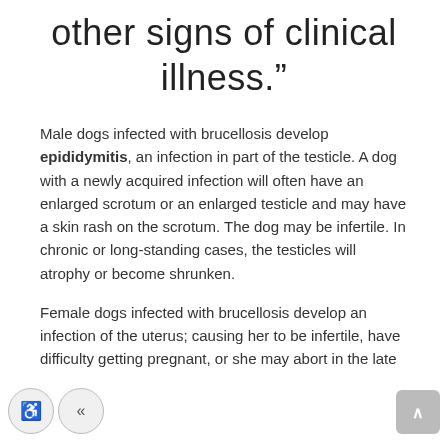other signs of clinical illness.”
Male dogs infected with brucellosis develop epididymitis, an infection in part of the testicle. A dog with a newly acquired infection will often have an enlarged scrotum or an enlarged testicle and may have a skin rash on the scrotum. The dog may be infertile. In chronic or long-standing cases, the testicles will atrophy or become shrunken.
Female dogs infected with brucellosis develop an infection of the uterus; causing her to be infertile, have difficulty getting pregnant, or she may abort in the late